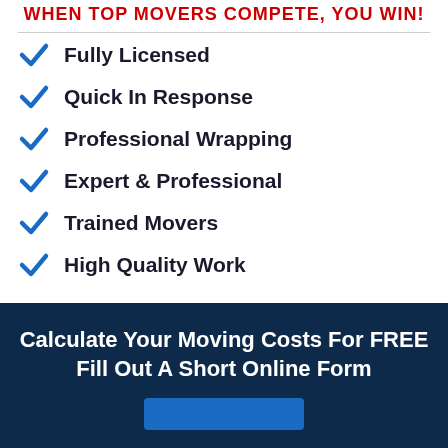WHEN TOP MOVERS COMPETE, YOU WIN!
Fully Licensed
Quick In Response
Professional Wrapping
Expert & Professional
Trained Movers
High Quality Work
Calculate Your Moving Costs For FREE Fill Out A Short Online Form